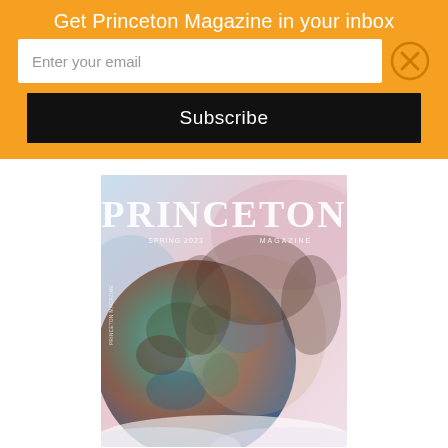Get Princeton Magazine in your inbox
Enter your email
Subscribe
[Figure (illustration): Princeton Magazine cover for Spring 2023, showing a black and white portrait of a woman overlaid with an image of the Earth globe, against a soft blue and pink sky background. The word PRINCETON appears prominently at the top in large serif letters, with SPRING 2023 and MAGAZINE text below.]